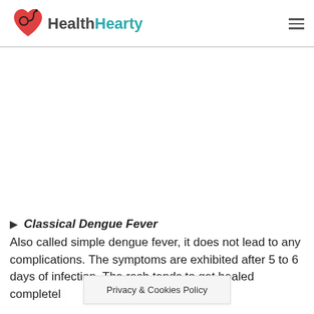HealthHearty
[Figure (other): Advertisement / blank area]
Classical Dengue Fever
Also called simple dengue fever, it does not lead to any complications. The symptoms are exhibited after 5 to 6 days of infection. The rash tends to get healed completely without a recurring episode of
Privacy & Cookies Policy